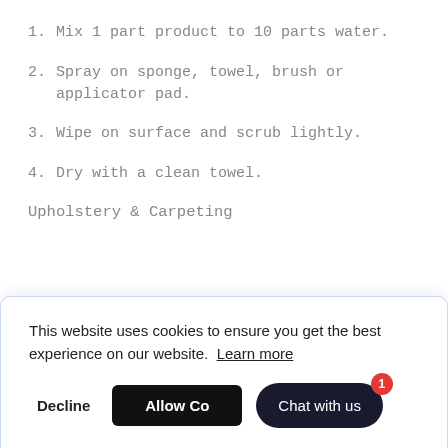1. Mix 1 part product to 10 parts water.
2. Spray on sponge, towel, brush or applicator pad.
3. Wipe on surface and scrub lightly.
4. Dry with a clean towel.
Upholstery & Carpeting
This website uses cookies to ensure you get the best experience on our website. Learn more
Decline  Allow Cookies  Chat with us  1